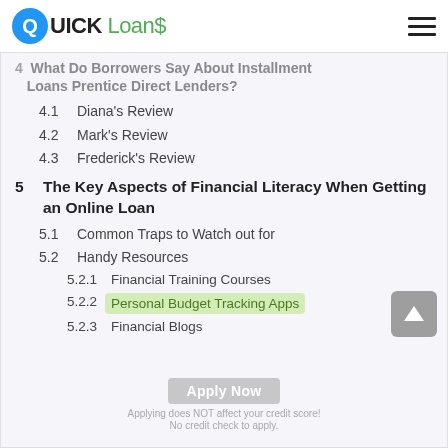QUICK Loans
4  What Do Borrowers Say About Installment Loans Prentice Direct Lenders?
4.1  Diana's Review
4.2  Mark's Review
4.3  Frederick's Review
5  The Key Aspects of Financial Literacy When Getting an Online Loan
5.1  Common Traps to Watch out for
5.2  Handy Resources
5.2.1  Financial Training Courses
5.2.2  Personal Budget Tracking Apps
5.2.3  Financial Blogs
Apply Now
Applying does NOT affect your credit score!
No credit check to apply.